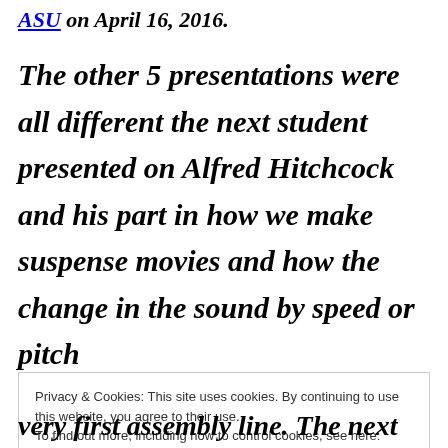ASU on April 16, 2016.
The other 5 presentations were all different the next student presented on Alfred Hitchcock and his part in how we make suspense movies and how the change in the sound by speed or pitch
Privacy & Cookies: This site uses cookies. By continuing to use this website, you agree to their use.
To find out more, including how to control cookies, see here: Cookie Policy
very first assembly line. The next was on